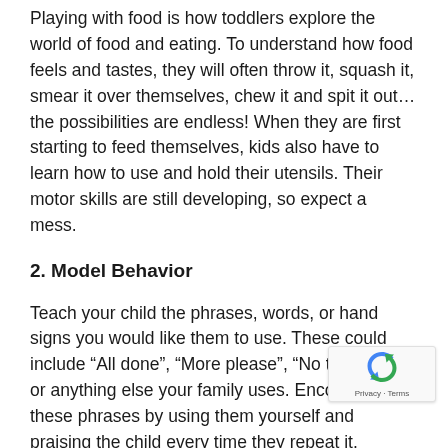Playing with food is how toddlers explore the world of food and eating. To understand how food feels and tastes, they will often throw it, squash it, smear it over themselves, chew it and spit it out… the possibilities are endless! When they are first starting to feed themselves, kids also have to learn how to use and hold their utensils. Their motor skills are still developing, so expect a mess.
2. Model Behavior
Teach your child the phrases, words, or hand signs you would like them to use. These could include “All done”, “More please”, “No thank you”, or anything else your family uses. Encourage these phrases by using them yourself and praising the child every time they repeat it.
3. Stay Calm